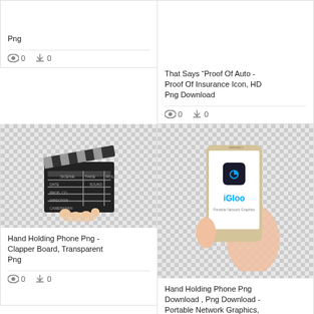Png
0  0
That Says “Proof Of Auto - Proof Of Insurance Icon, HD Png Download
0  0
[Figure (photo): Hand holding a film clapper board with checkered transparent background]
Hand Holding Phone Png - Clapper Board, Transparent Png
0  0
[Figure (photo): Hand holding a smartphone displaying iGloo app logo, checkered transparent background]
Hand Holding Phone Png Download , Png Download - Portable Network Graphics, Transparent Png
0  0
[Figure (photo): Partial image at bottom left, checkered transparent background]